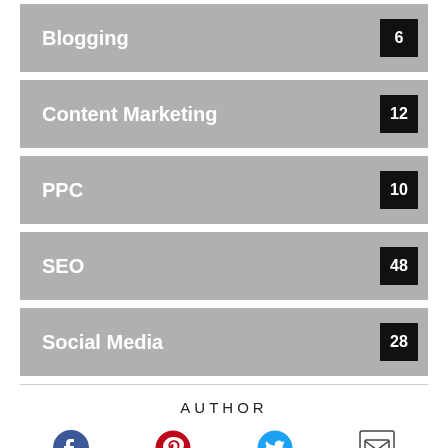Blogging 6
Content Marketing 12
PPC 10
SEO 48
Social Media 28
AUTHOR
[Figure (infographic): Social media share icons: Facebook, Pinterest, Twitter, Email]